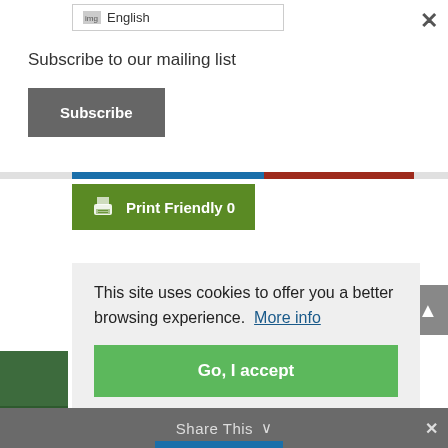en English
×
Subscribe to our mailing list
Subscribe
[Figure (other): Colored horizontal progress/divider bar with blue and dark red segments]
Print Friendly  0
This site uses cookies to offer you a better browsing experience.  More info
Go, I accept
Share This  ∨  ×